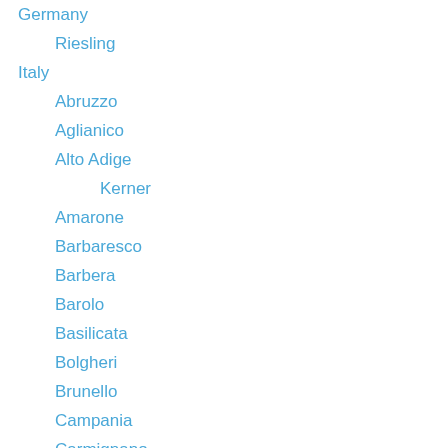Germany
Riesling
Italy
Abruzzo
Aglianico
Alto Adige
Kerner
Amarone
Barbaresco
Barbera
Barolo
Basilicata
Bolgheri
Brunello
Campania
Carmignano
Chianti
Dolcetto
Emilia
Falanghina